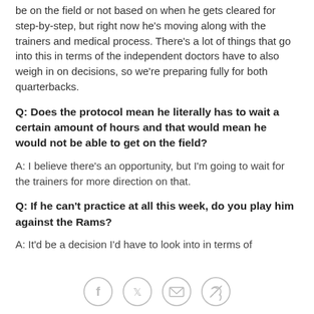be on the field or not based on when he gets cleared for step-by-step, but right now he's moving along with the trainers and medical process. There's a lot of things that go into this in terms of the independent doctors have to also weigh in on decisions, so we're preparing fully for both quarterbacks.
Q: Does the protocol mean he literally has to wait a certain amount of hours and that would mean he would not be able to get on the field?
A: I believe there's an opportunity, but I'm going to wait for the trainers for more direction on that.
Q: If he can't practice at all this week, do you play him against the Rams?
A: It'd be a decision I'd have to look into in terms of
[Figure (other): Social sharing icons row: Facebook, Twitter, Email, Link]